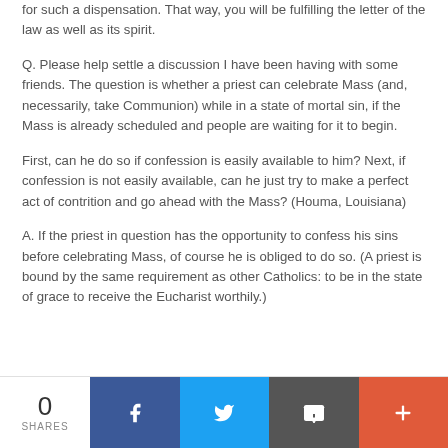for such a dispensation. That way, you will be fulfilling the letter of the law as well as its spirit.
Q. Please help settle a discussion I have been having with some friends. The question is whether a priest can celebrate Mass (and, necessarily, take Communion) while in a state of mortal sin, if the Mass is already scheduled and people are waiting for it to begin.
First, can he do so if confession is easily available to him? Next, if confession is not easily available, can he just try to make a perfect act of contrition and go ahead with the Mass? (Houma, Louisiana)
A. If the priest in question has the opportunity to confess his sins before celebrating Mass, of course he is obliged to do so. (A priest is bound by the same requirement as other Catholics: to be in the state of grace to receive the Eucharist worthily.)
0 SHARES | Share on Facebook | Share on Twitter | Share via Email | More